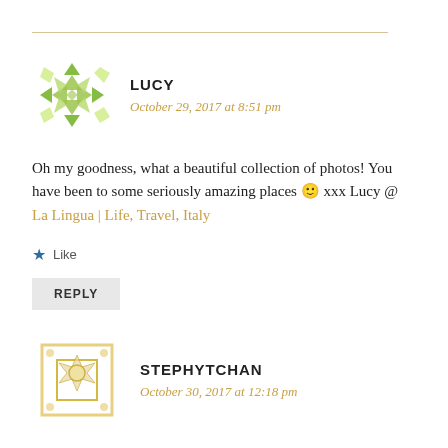LUCY
October 29, 2017 at 8:51 pm
Oh my goodness, what a beautiful collection of photos! You have been to some seriously amazing places 🙂 xxx Lucy @ La Lingua | Life, Travel, Italy
Like
REPLY
STEPHYTCHAN
October 30, 2017 at 12:18 pm